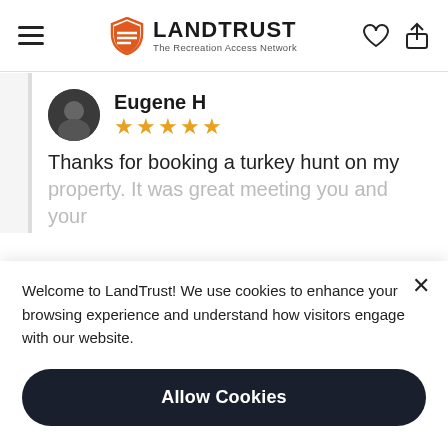LANDTRUST — The Recreation Access Network
Eugene H
★★★★★
Thanks for booking a turkey hunt on my property. It was great meeting you and your...
Welcome to LandTrust! We use cookies to enhance your browsing experience and understand how visitors engage with our website.
Allow Cookies